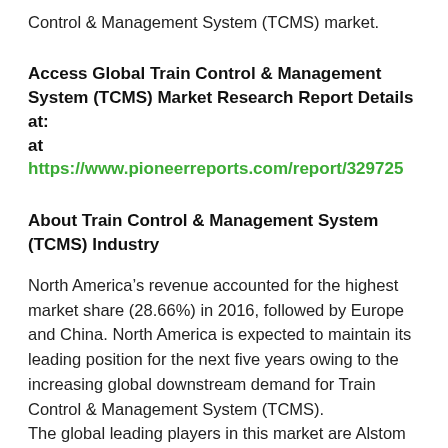Control & Management System (TCMS) market.
Access Global Train Control & Management System (TCMS) Market Research Report Details at: at https://www.pioneerreports.com/report/329725
About Train Control & Management System (TCMS) Industry
North America’s revenue accounted for the highest market share (28.66%) in 2016, followed by Europe and China. North America is expected to maintain its leading position for the next five years owing to the increasing global downstream demand for Train Control & Management System (TCMS). The global leading players in this market are Alstom SA, Bombardier, Siemens AG, Hitachi Ltd. and